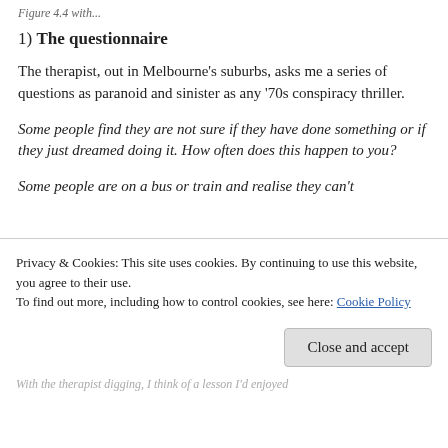Figure 4.4 with...
1) The questionnaire
The therapist, out in Melbourne's suburbs, asks me a series of questions as paranoid and sinister as any '70s conspiracy thriller.
Some people find they are not sure if they have done something or if they just dreamed doing it. How often does this happen to you?
Some people are on a bus or train and realise they can't
Privacy & Cookies: This site uses cookies. By continuing to use this website, you agree to their use.
To find out more, including how to control cookies, see here: Cookie Policy
Close and accept
With the therapist digging, I think of a lesson I'd enjoyed